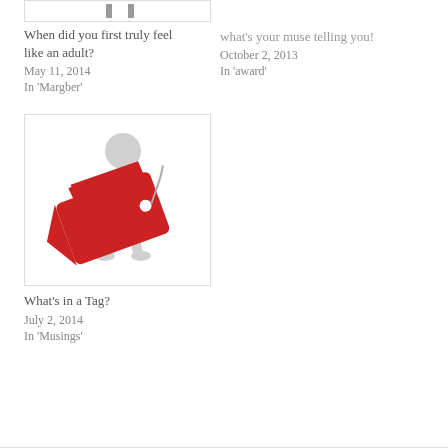[Figure (illustration): Small cropped thumbnail at top of left column showing two vertical bars]
When did you first truly feel like an adult?
May 11, 2014
In 'Margber'
what's your muse telling you?
October 2, 2013
In 'award'
[Figure (illustration): 3D white humanoid figure holding a large red price tag with a circular hole and string]
What's in a Tag?
July 2, 2014
In 'Musings'